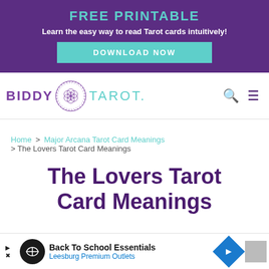FREE PRINTABLE
Learn the easy way to read Tarot cards intuitively!
DOWNLOAD NOW
[Figure (logo): Biddy Tarot logo with circular mandala motif between the words BIDDY and TAROT.]
Home > Major Arcana Tarot Card Meanings > The Lovers Tarot Card Meanings
The Lovers Tarot Card Meanings
[Figure (screenshot): Advertisement banner: Back To School Essentials — Leesburg Premium Outlets]